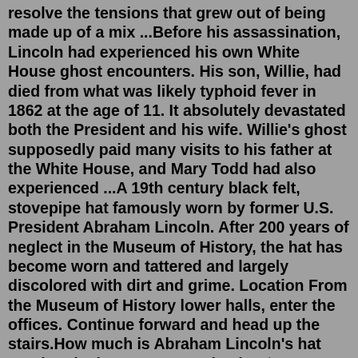resolve the tensions that grew out of being made up of a mix ...Before his assassination, Lincoln had experienced his own White House ghost encounters. His son, Willie, had died from what was likely typhoid fever in 1862 at the age of 11. It absolutely devastated both the President and his wife. Willie's ghost supposedly paid many visits to his father at the White House, and Mary Todd had also experienced ...A 19th century black felt, stovepipe hat famously worn by former U.S. President Abraham Lincoln. After 200 years of neglect in the Museum of History, the hat has become worn and tattered and largely discolored with dirt and grime. Location From the Museum of History lower halls, enter the offices. Continue forward and head up the stairs.How much is Abraham Lincoln's hat worth? The hat, once appraised at $6.5 million, was the cornerstone of a $25 million haul of Lincoln artifacts bought in 2007 by the Abraham Lincoln Presidential Library Foundation using private donations. 6 Lincoln Opened The Emancipation Proclamation With A